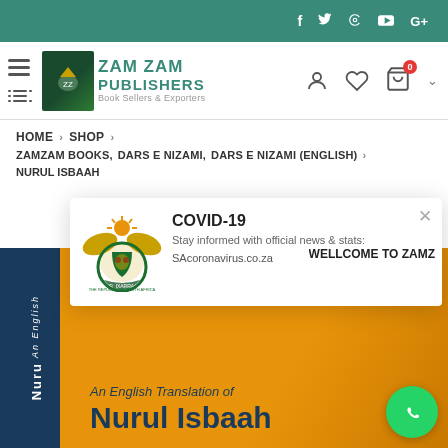Social icons: f, Twitter, Pinterest, YouTube, G+
[Figure (logo): Zam Zam Publishers logo with eagle emblem and text 'ZAM ZAM PUBLISHERS Book Sellers & Exporters']
HOME > SHOP >
ZAMZAM BOOKS, DARS E NIZAMI, DARS E NIZAMI (ENGLISH) >
NURUL ISBAAH
[Figure (other): COVID-19 popup with South African coat of arms, text: 'COVID-19 Stay informed with official news & stats: SAcoronavirus.co.za' and 'WELLCOME TO ZAMZ']
[Figure (photo): Book product image showing 'An English Translation of Nurul Isbaah' with dark spine and orange/gold cover]